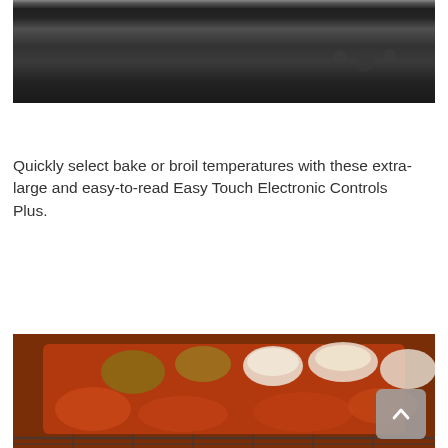[Figure (photo): Close-up photo of a black glass cooktop surface, showing the dark reflective surface with a silver trim edge at the top and subtle reflections/highlights.]
Quickly select bake or broil temperatures with these extra-large and easy-to-read Easy Touch Electronic Controls Plus.
[Figure (photo): Photo of a glass baking dish inside an oven containing rotini pasta in red tomato sauce topped with chicken pieces and melted cheese, sitting on an oven rack.]